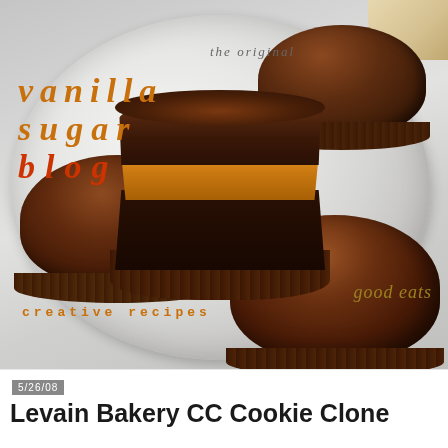[Figure (photo): Food blog header image showing chocolate peanut butter cups on a white plate, three chocolate cups in fluted paper liners, one cut open to reveal peanut butter and dark cookie layers inside, on a light gray plate against a light background. Text overlays include 'the original', 'vanilla sugar blog' in orange/red italic letters, 'good eats' in gold italic, and 'creative recipes' in orange monospace.]
5/26/08
Levain Bakery CC Cookie Clone